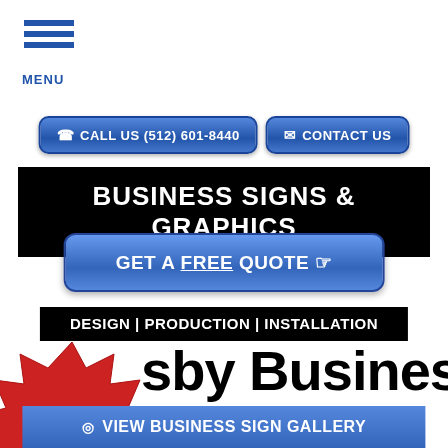MENU
CALL US (512) 601-8440
CONTACT US
BUSINESS SIGNS & GRAPHICS
GET A FREE QUOTE
DESIGN | PRODUCTION | INSTALLATION
Crosby Business
[Figure (illustration): Red starburst badge with text: We're Open Phone/Video Consultations Available]
VIEW BUSINESS SIGN GALLERY